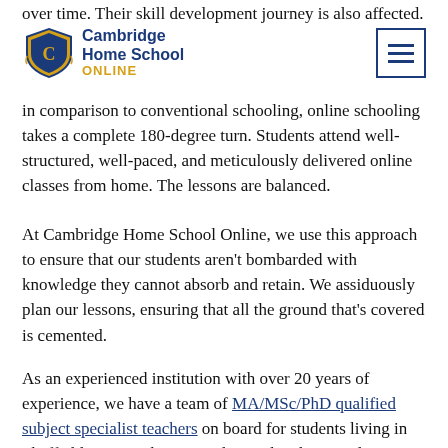over time. Their skill development journey is also affected.
Cambridge Home School ONLINE [logo + hamburger menu]
In comparison to conventional schooling, online schooling takes a complete 180-degree turn. Students attend well-structured, well-paced, and meticulously delivered online classes from home. The lessons are balanced.
At Cambridge Home School Online, we use this approach to ensure that our students aren't bombarded with knowledge they cannot absorb and retain. We assiduously plan our lessons, ensuring that all the ground that's covered is cemented.
As an experienced institution with over 20 years of experience, we have a team of MA/MSc/PhD qualified subject specialist teachers on board for students living in Sheffield. Our teachers use advanced audio-visual technology, an independent curriculum, and the student-centric teaching model to deliver excellent lessons that prompt increased class engagement and interactivity.